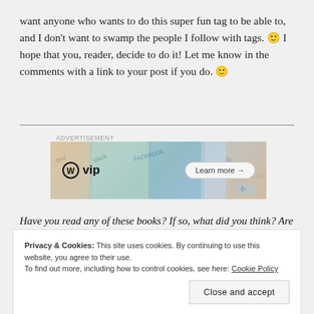want anyone who wants to do this super fun tag to be able to, and I don't want to swamp the people I follow with tags. 🙂 I hope that you, reader, decide to do it! Let me know in the comments with a link to your post if you do. 🙂
[Figure (other): WordPress VIP advertisement banner with 'Learn more →' button and social media brand logos in background]
Have you read any of these books? If so, what did you think? Are
Privacy & Cookies: This site uses cookies. By continuing to use this website, you agree to their use. To find out more, including how to control cookies, see here: Cookie Policy
Close and accept